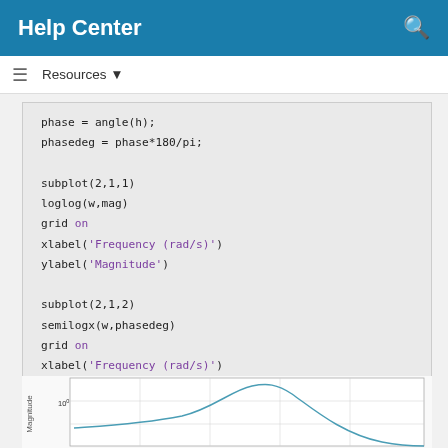Help Center
Resources ▼
phase = angle(h);
phasedeg = phase*180/pi;

subplot(2,1,1)
loglog(w,mag)
grid on
xlabel('Frequency (rad/s)')
ylabel('Magnitude')

subplot(2,1,2)
semilogx(w,phasedeg)
grid on
xlabel('Frequency (rad/s)')
ylabel('Phase (degrees)')
[Figure (continuous-plot): Bode plot showing Magnitude vs Frequency, loglog scale. A curve rises to a peak then decreases sharply. Y-axis labeled Magnitude with value 10^0 visible.]